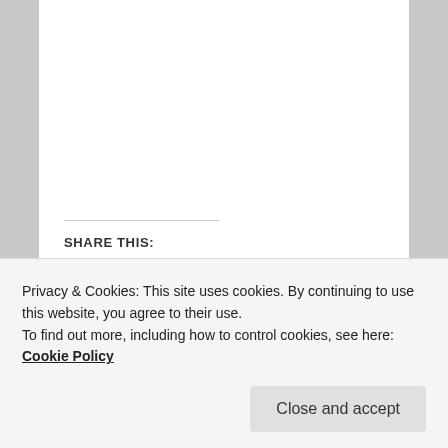SHARE THIS:
[Figure (infographic): Social share buttons: Twitter (blue circle with bird icon), Facebook (blue circle with f icon), and a More button with share icon]
Posted in Fun Stuff | Tagged tidbits | Leave a reply
Privacy & Cookies: This site uses cookies. By continuing to use this website, you agree to their use.
To find out more, including how to control cookies, see here: Cookie Policy
Close and accept
month but with a twist. I'll continue to add tidbits to this